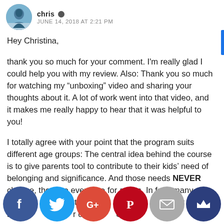chris · JUNE 14, 2018 AT 2:21 PM
Hey Christina,
thank you so much for your comment. I'm really glad I could help you with my review. Also: Thank you so much for watching my “unboxing” video and sharing your thoughts about it. A lot of work went into that video, and it makes me really happy to hear that it was helpful to you!
I totally agree with your point that the program suits different age groups: The central idea behind the course is to give parents tool to contribute to their kids’ need of belonging and significance. And those needs NEVER change, they are even true for adults. In fact, many of the to...ou learn...t will h...ou pre...power stru...th yo...can A...elp p...ng
[Figure (infographic): Social sharing buttons bar at bottom: Facebook (blue), Twitter (cyan), Google+ (red), Pinterest (dark red), Email (grey), Crown/other (dark blue)]